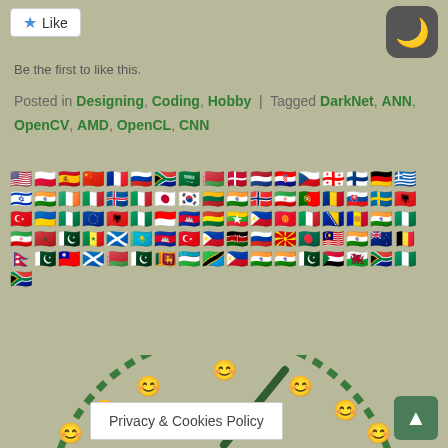Like
Be the first to like this.
Posted in Designing, Coding, Hobby | Tagged DarkNet, ANN, OpenCV, AMD, OpenCL, CNN
[Figure (infographic): Grid of country flag emoji icons arranged in rows]
[Figure (infographic): Circular speedometer/gauge with green dashed arc and pointer, with emoji face markers at various positions]
Privacy & Cookies Policy